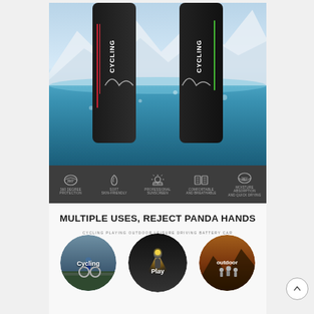[Figure (photo): Product photo showing cycling arm sleeves/leg sleeves being worn, partially submerged in water with snowy mountain background. Black sleeves with 'CYCLING' text branding.]
[Figure (infographic): Dark grey features bar with 5 icons: 360 Degree Protection, Soft Skin-Friendly, Professional Sunscreen (UPF50+), Comfortable and Breathable, Moisture Absorption and Quick Drying]
MULTIPLE USES, REJECT PANDA HANDS
CYCLING PLAYING OUTDOOR LEISURE DRIVING BATTERY CAR
[Figure (photo): Three circular photo buttons: 'Cycling' showing cyclist on road, 'Play' showing person with headlamp in dark setting, 'outdoor' showing hikers in outdoor landscape]